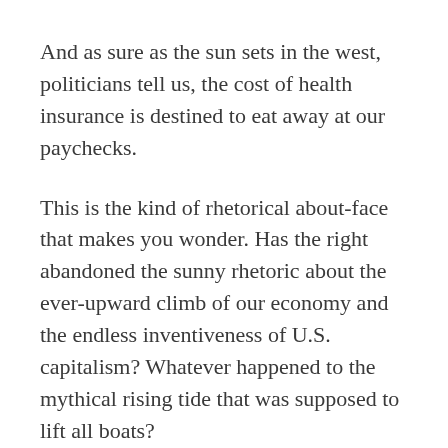And as sure as the sun sets in the west, politicians tell us, the cost of health insurance is destined to eat away at our paychecks.
This is the kind of rhetorical about-face that makes you wonder. Has the right abandoned the sunny rhetoric about the ever-upward climb of our economy and the endless inventiveness of U.S. capitalism? Whatever happened to the mythical rising tide that was supposed to lift all boats?
Now the water’s going out, and it’s only greedy public school teachers and overpaid union carpenters who are stuck in the past, imagining that